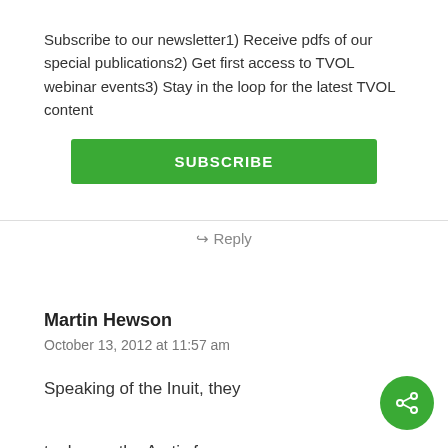Subscribe to our newsletter1) Receive pdfs of our special publications2) Get first access to TVOL webinar events3) Stay in the loop for the latest TVOL content
SUBSCRIBE
↳ Reply
Martin Hewson
October 13, 2012 at 11:57 am
Speaking of the Inuit, they took over the Arctic from the Dorset people (around